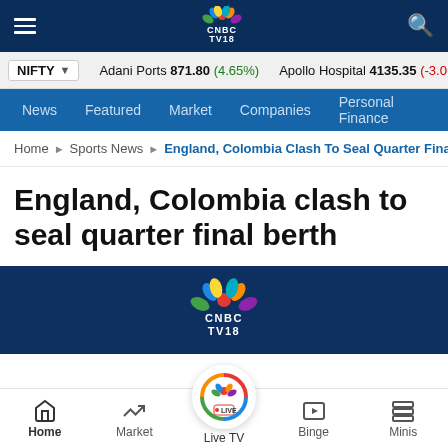CNBC TV18 — Navigation bar with hamburger menu, CNBC TV18 logo, and search icon
NIFTY ▾ | Adani Ports 871.80 (4.65%) | Apollo Hospital 4135.35 (-3.0...)
News | Featured | Market | Companies | Personal Finance
Home > Sports News > England, Colombia Clash To Seal Quarter Final B
England, Colombia clash to seal quarter final berth
[Figure (screenshot): Dark blue background with CNBC TV18 logo (peacock) visible, partial Live TV overlay screen]
Home | Market | Live TV | Binge | Minis